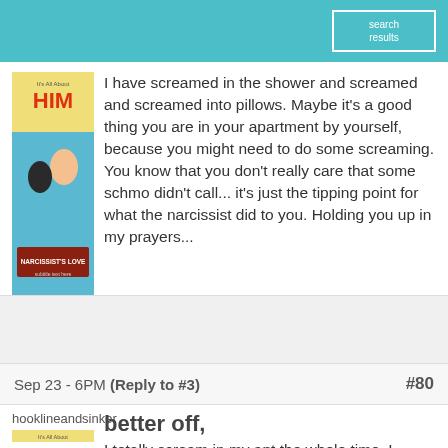I have screamed in the shower and screamed and screamed into pillows. Maybe it's a good thing you are in your apartment by yourself, because you might need to do some screaming. You know that you don't really care that some schmo didn't call... it's just the tipping point for what the narcissist did to you. Holding you up in my prayers...
Sep 23 - 6PM (Reply to #3)   #80
hooklineandsinker
better off,
I totally scream in my apt the whole time. I dropped some chocolates on the floor tonight and screamed in fury. When my laptop is too slow, i sit in my room and scream... When